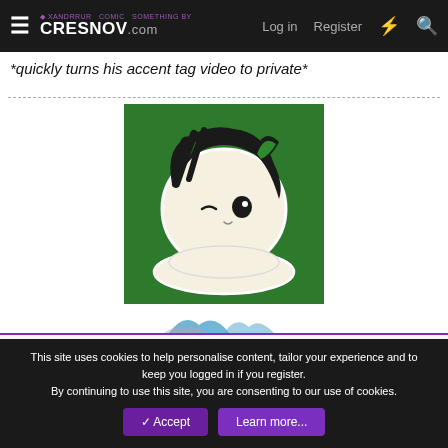CRESNOV.com — Log in | Register
*quickly turns his accent tag video to private*
[Figure (illustration): Cartoon chibi cat character with black hair, winking, resting chin on a pillow/cushion, on a green background]
Marken and Tee
29 of 30
This site uses cookies to help personalise content, tailor your experience and to keep you logged in if you register. By continuing to use this site, you are consenting to our use of cookies.